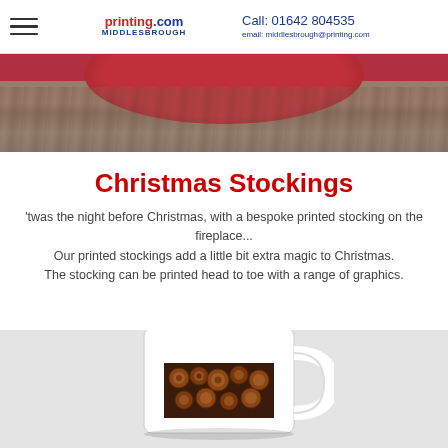printing.com MIDDLESBROUGH | Call: 01642 804535 | email: middlesbrough@printing.com
[Figure (photo): Top portion of a Christmas-themed photo showing a red plate/dish on a wooden surface background]
Christmas Stockings
'twas the night before Christmas, with a bespoke printed stocking on the fireplace... Our printed stockings add a little bit extra magic to Christmas. The stocking can be printed head to toe with a range of graphics.
[Figure (photo): Bottom portion showing a white ceramic mug with a printed photo wrap featuring logs/nuts imagery on a light grey background]